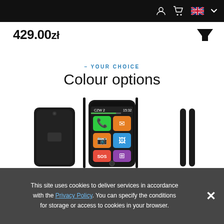[navigation bar with user, cart, UK flag, dropdown icons]
429.00zł
– YOUR CHOICE
Colour options
[Figure (photo): Three views of a black smartphone: rear view on left, front face showing home screen with colorful app icons (phone, mail, camera, photos, SOS, grid) in center, and side profile view on right]
This site uses cookies to deliver services in accordance with the Privacy Policy. You can specify the conditions for storage or access to cookies in your browser.